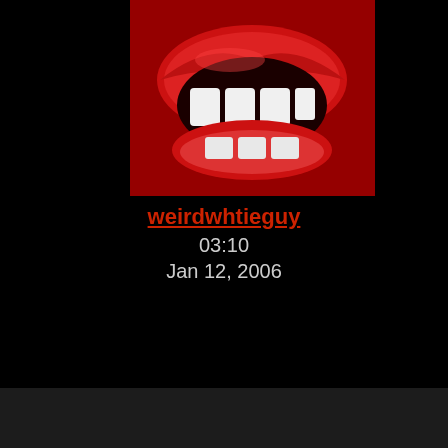[Figure (photo): Vampire mouth/lips avatar with fangs on red background - top post]
weirdwhtieguy
03:10
Jan 12, 2006
[Figure (photo): Vampire mouth/lips avatar with fangs on red background - second post]
TLilith
13:52
Jan 12, 2006
[Figure (photo): Welcome banner with pink/magenta neon script text and pink roses on black background]